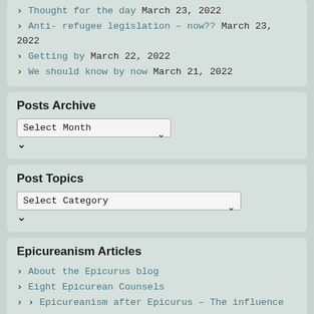› Thought for the day March 23, 2022
› Anti- refugee legislation – now?? March 23, 2022
› Getting by March 22, 2022
› We should know by now March 21, 2022
Posts Archive
Select Month
Post Topics
Select Category
Epicureanism Articles
› About the Epicurus blog
› Eight Epicurean Counsels
› Epicureanism after Epicurus – The influence of Epicurus on Western thought
› Epicureanism and self-interest
› Epicurus and Carvaca
› Epicurus and Modern Philosophy
› Epicurus and Politics: why I think he was wrong
› Happiness
› Internet Safety Tips for Seniors